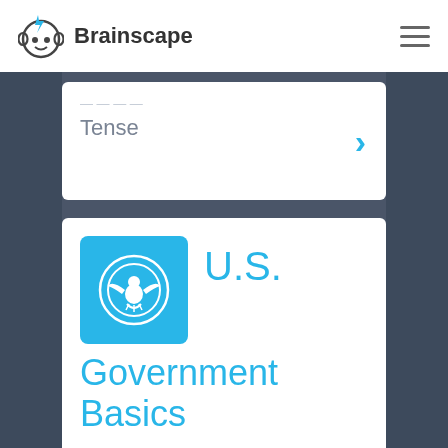[Figure (logo): Brainscape logo - cartoon face with lightning bolt, next to brand name 'Brainscape']
Tense
[Figure (illustration): U.S. Government Basics deck icon - blue square with white eagle emblem in circle]
U.S. Government Basics
BRAINSCAPE CERTIFIED CLASS
318 Cards –
7 Decks –
4,233 Learners